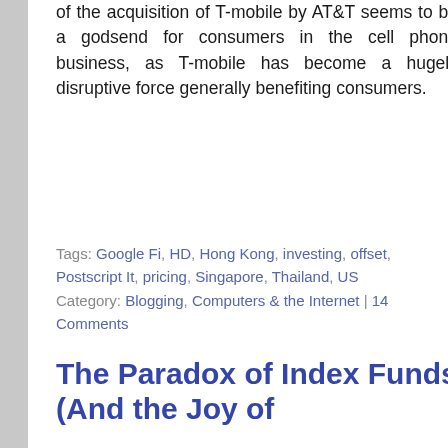of the acquisition of T-mobile by AT&T seems to be a godsend for consumers in the cell phone business, as T-mobile has become a hugely disruptive force generally benefiting consumers.
Tags: Google Fi, HD, Hong Kong, investing, offset, Postscript It, pricing, Singapore, Thailand, US Category: Blogging, Computers & the Internet | 14 Comments
The Paradox of Index Funds (And the Joy of